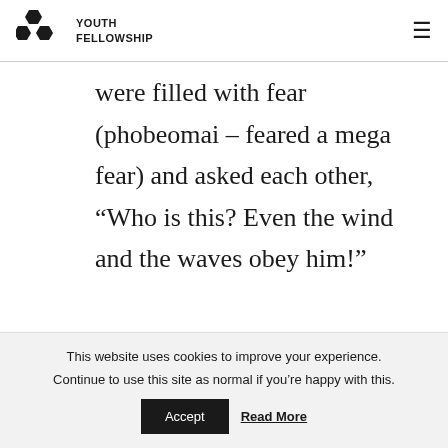YOUTH FELLOWSHIP
were filled with fear (phobeomai – feared a mega fear) and asked each other, “Who is this? Even the wind and the waves obey him!”
This website uses cookies to improve your experience.
Continue to use this site as normal if you’re happy with this.
Accept    Read More